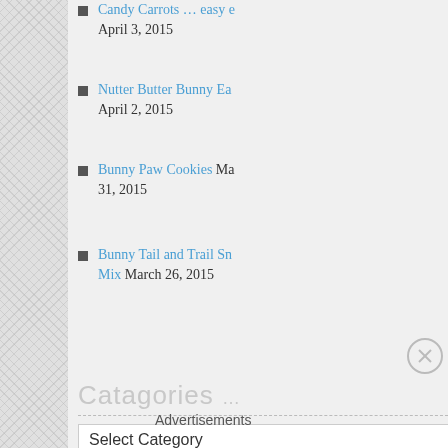Candy Carrots … easy … April 3, 2015
Nutter Butter Bunny Ea… April 2, 2015
Bunny Paw Cookies Ma… 31, 2015
Bunny Tail and Trail Sn… Mix March 26, 2015
Catagories …
Select Category
Archives …
Select Month
Advertisements